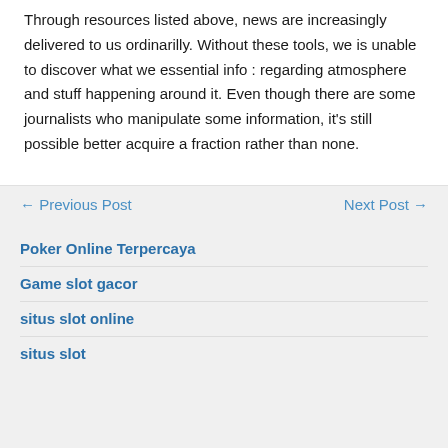Through resources listed above, news are increasingly delivered to us ordinarilly. Without these tools, we is unable to discover what we essential info : regarding atmosphere and stuff happening around it. Even though there are some journalists who manipulate some information, it's still possible better acquire a fraction rather than none.
← Previous Post
Next Post →
Poker Online Terpercaya
Game slot gacor
situs slot online
situs slot